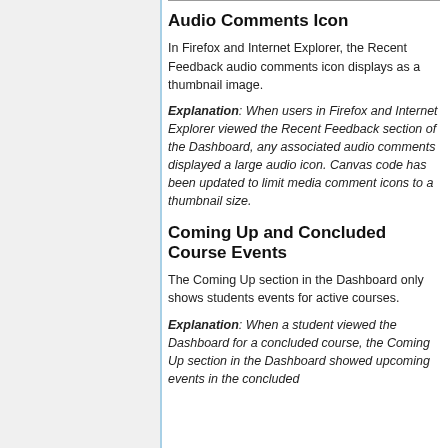Audio Comments Icon
In Firefox and Internet Explorer, the Recent Feedback audio comments icon displays as a thumbnail image.
Explanation: When users in Firefox and Internet Explorer viewed the Recent Feedback section of the Dashboard, any associated audio comments displayed a large audio icon. Canvas code has been updated to limit media comment icons to a thumbnail size.
Coming Up and Concluded Course Events
The Coming Up section in the Dashboard only shows students events for active courses.
Explanation: When a student viewed the Dashboard for a concluded course, the Coming Up section in the Dashboard showed upcoming events in the concluded